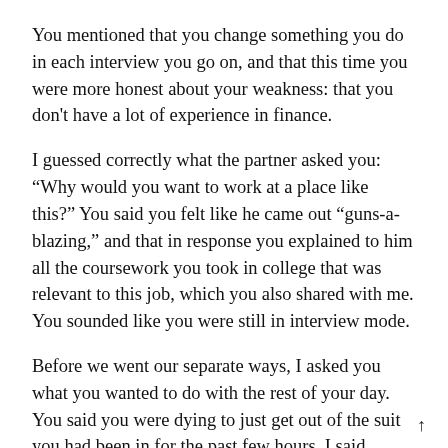You mentioned that you change something you do in each interview you go on, and that this time you were more honest about your weakness: that you don't have a lot of experience in finance.
I guessed correctly what the partner asked you: “Why would you want to work at a place like this?” You said you felt like he came out “guns-a-blazing,” and that in response you explained to him all the coursework you took in college that was relevant to this job, which you also shared with me. You sounded like you were still in interview mode.
Before we went our separate ways, I asked you what you wanted to do with the rest of your day. You said you were dying to just get out of the suit you had been in for the past few hours. I said, “Good luck with everything.”